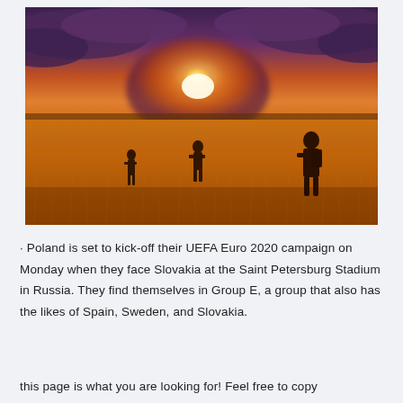[Figure (photo): Outdoor field at sunset with tall golden grass and three silhouetted figures standing in the field under a dramatic purple and orange sky with bright sun near the horizon.]
· Poland is set to kick-off their UEFA Euro 2020 campaign on Monday when they face Slovakia at the Saint Petersburg Stadium in Russia. They find themselves in Group E, a group that also has the likes of Spain, Sweden, and Slovakia.
this page is what you are looking for! Feel free to copy